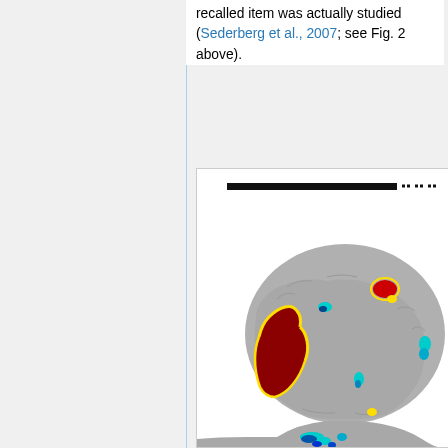recalled item was actually studied (Sederberg et al., 2007; see Fig. 2 above).
[Figure (photo): 3D rendered brain images showing activation maps with colored regions (red/yellow for positive activation, cyan/blue for negative activation) overlaid on gray brain surface. Top image shows lateral view; bottom image shows another view with cyan activation spots.]